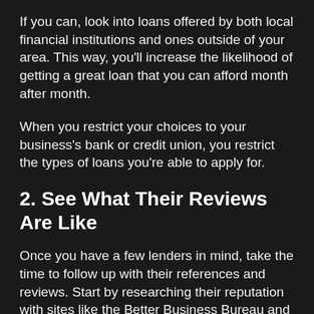If you can, look into loans offered by both local financial institutions and ones outside of your area. This way, you'll increase the likelihood of getting a great loan that you can afford month after month.
When you restrict your choices to your business's bank or credit union, you restrict the types of loans you're able to apply for.
2. See What Their Reviews Are Like
Once you have a few lenders in mind, take the time to follow up with their references and reviews. Start by researching their reputation with sites like the Better Business Bureau and see what previous customers have to say about their services.
Pay close attention to any repeat issues mentioned in those reviews. If several people